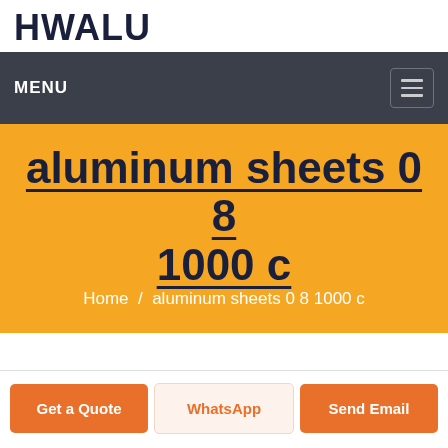HWALU
MENU
aluminum sheets 0 8 1000 c
Home / aluminum sheets 0 8 1000 c
Get a Quote
WhatsApp
Send Email